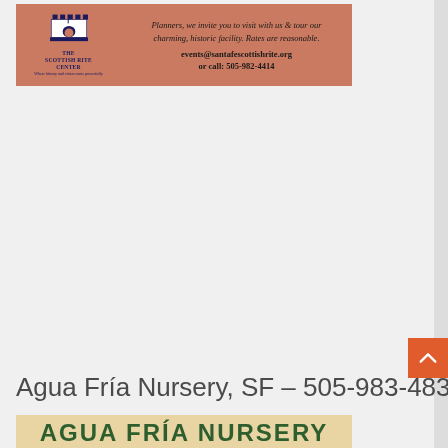[Figure (illustration): Advertisement for The Scottish Rite Center with salmon/coral background, castle logo on left, and text inviting planners to visit the historic facility with contact info: events@santafescottishrite.org or call: 505-982-4414]
Agua Fría Nursery, SF – 505-983-4831
[Figure (illustration): Bottom portion of Agua Fria Nursery advertisement banner with beige/tan background and large green bold text reading AGUA FRIA NURSERY (partially visible)]